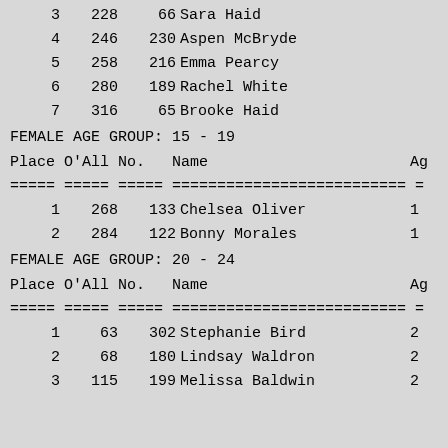| Place | O'All | No. | Name | Ag |
| --- | --- | --- | --- | --- |
| 3 | 228 | 66 | Sara Haid |  |
| 4 | 246 | 230 | Aspen McBryde | 1 |
| 5 | 258 | 216 | Emma Pearcy | 1 |
| 6 | 280 | 189 | Rachel White | 1 |
| 7 | 316 | 65 | Brooke Haid | 1 |
FEMALE AGE GROUP:  15 - 19
| Place | O'All | No. | Name | Ag |
| --- | --- | --- | --- | --- |
| 1 | 268 | 133 | Chelsea Oliver | 1 |
| 2 | 284 | 122 | Bonny Morales | 1 |
FEMALE AGE GROUP:  20 - 24
| Place | O'All | No. | Name | Ag |
| --- | --- | --- | --- | --- |
| 1 | 63 | 302 | Stephanie Bird | 2 |
| 2 | 68 | 180 | Lindsay Waldron | 2 |
| 3 | 115 | 199 | Melissa Baldwin | 2 |